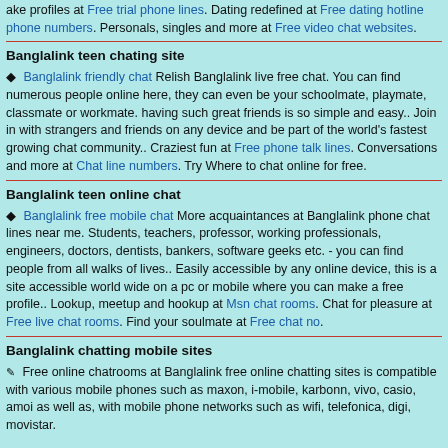ake profiles at Free trial phone lines. Dating redefined at Free dating hotline phone numbers. Personals, singles and more at Free video chat websites.
Banglalink teen chating site
Banglalink friendly chat Relish Banglalink live free chat. You can find numerous people online here, they can even be your schoolmate, playmate, classmate or workmate. having such great friends is so simple and easy.. Join in with strangers and friends on any device and be part of the world's fastest growing chat community.. Craziest fun at Free phone talk lines. Conversations and more at Chat line numbers. Try Where to chat online for free.
Banglalink teen online chat
Banglalink free mobile chat More acquaintances at Banglalink phone chat lines near me. Students, teachers, professor, working professionals, engineers, doctors, dentists, bankers, software geeks etc. - you can find people from all walks of lives.. Easily accessible by any online device, this is a site accessible world wide on a pc or mobile where you can make a free profile.. Lookup, meetup and hookup at Msn chat rooms. Chat for pleasure at Free live chat rooms. Find your soulmate at Free chat no.
Banglalink chatting mobile sites
Free online chatrooms at Banglalink free online chatting sites is compatible with various mobile phones such as maxon, i-mobile, karbonn, vivo, casio, amoi as well as, with mobile phone networks such as wifi, telefonica, digi, movistar.